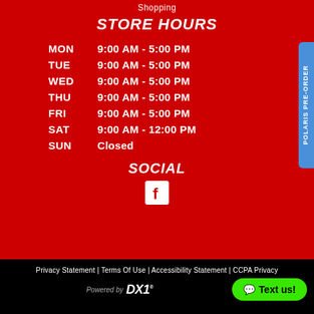Shopping
STORE HOURS
| Day | Hours |
| --- | --- |
| MON | 9:00 AM - 5:00 PM |
| TUE | 9:00 AM - 5:00 PM |
| WED | 9:00 AM - 5:00 PM |
| THU | 9:00 AM - 5:00 PM |
| FRI | 9:00 AM - 5:00 PM |
| SAT | 9:00 AM - 12:00 PM |
| SUN | Closed |
SOCIAL
[Figure (logo): Facebook logo icon (white F on white background square)]
Privacy Statement | Terms Of Use | Accessibility Statement | CCPA Privacy
Powered by DX1